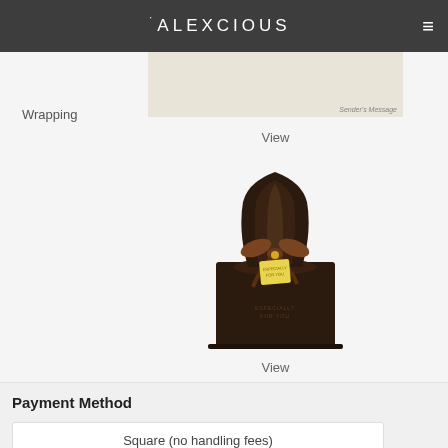ALEXCIOUS
Wrapping
View
[Figure (photo): Dark brown gift bag tied with a ribbon and a small yellow tag reading 'ESPECIALLY FOR YOU']
View
Payment Method
Square (no handling fees)
PayPal (no handling fees)